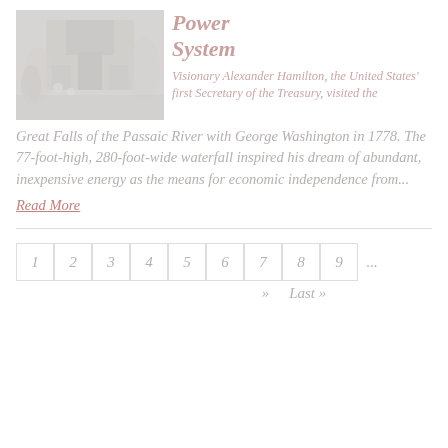[Figure (photo): Faded black and white photograph of a historic building, possibly a mill or government structure, with trees in the background.]
Power System
Visionary Alexander Hamilton, the United States' first Secretary of the Treasury, visited the Great Falls of the Passaic River with George Washington in 1778. The 77-foot-high, 280-foot-wide waterfall inspired his dream of abundant, inexpensive energy as the means for economic independence from...
Read More
1  2  3  4  5  6  7  8  9  ...  »  Last »